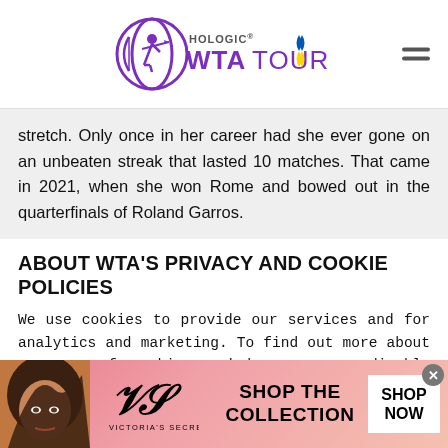Hologic WTA Tour
stretch. Only once in her career had she ever gone on an unbeaten streak that lasted 10 matches. That came in 2021, when she won Rome and bowed out in the quarterfinals of Roland Garros.
ABOUT WTA'S PRIVACY AND COOKIE POLICIES
We use cookies to provide our services and for analytics and marketing. To find out more about our use of cookies and how you can disable them, please see our Privacy Policy. By continuing to browse our website, you agree to our use of cookies. Click here to find out more info.
[Figure (photo): Victoria's Secret advertisement banner with model, VS logo, 'SHOP THE COLLECTION' text and SHOP NOW button]